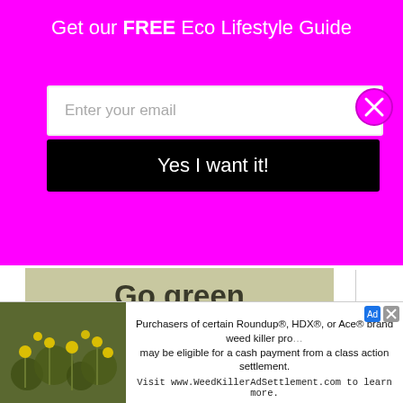Get our FREE Eco Lifestyle Guide
Enter your email
Yes I want it!
[Figure (infographic): Green tile advertisement: Go green with our huge zero waste range!]
[Figure (infographic): Bottom ad banner with plant image and text: Purchasers of certain Roundup®, HDX®, or Ace® brand weed killer products may be eligible for a cash payment from a class action settlement. Visit www.WeedKillerAdSettlement.com to learn more.]